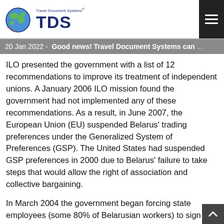[Figure (logo): Travel Document Systems (TDS) logo with globe icon and company name]
20 Jan 2022 - Good news! Travel Document Systems can ...
ILO presented the government with a list of 12 recommendations to improve its treatment of independent unions. A January 2006 ILO mission found the government had not implemented any of these recommendations. As a result, in June 2007, the European Union (EU) suspended Belarus' trading preferences under the Generalized System of Preferences (GSP). The United States had suspended GSP preferences in 2000 due to Belarus' failure to take steps that would allow the right of association and collective bargaining.
In March 2004 the government began forcing state employees (some 80% of Belarusian workers) to sign short-term work contracts. Although contracts may be concluded for a period of 5 years, most expire after one year--essentially granting the government the opportunity to annually fire anyone in its employ. Many members of independent unions, political parti…